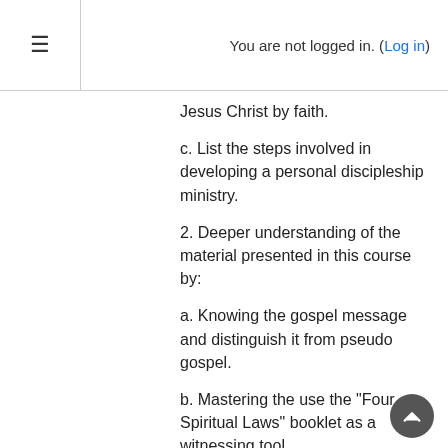You are not logged in. (Log in)
Jesus Christ by faith.
c. List the steps involved in developing a personal discipleship ministry.
2. Deeper understanding of the material presented in this course by:
a. Knowing the gospel message and distinguish it from pseudo gospel.
b. Mastering the use the "Four Spiritual Laws" booklet as a witnessing tool.
c. Recognizing the task of evangelism within the African